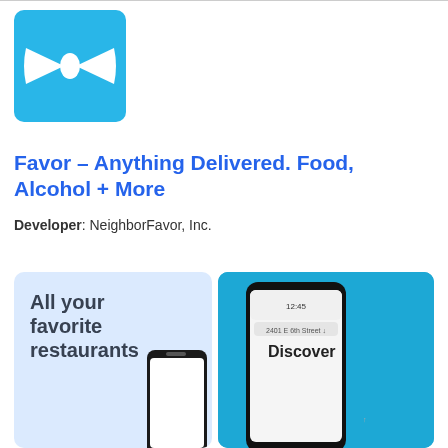[Figure (logo): Favor app logo: blue square background with white bow-tie icon]
Favor – Anything Delivered. Food, Alcohol + More
Developer: NeighborFavor, Inc.
[Figure (screenshot): Screenshot showing 'All your favorite restaurants' text with a smartphone]
[Figure (screenshot): Screenshot showing Favor app Discover screen on smartphone with blue background]